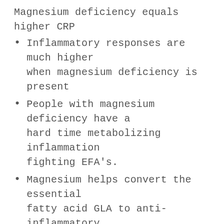Magnesium deficiency equals higher CRP
Inflammatory responses are much higher when magnesium deficiency is present
People with magnesium deficiency have a hard time metabolizing inflammation fighting EFA's.
Magnesium helps convert the essential fatty acid GLA to anti-inflammatory DGLA.
Magnesium deficiency causes lower activation of systemic enzymes. These enzymes are needed to eat up scar tissue, fibroids.
Magnesium is the ultimate stress